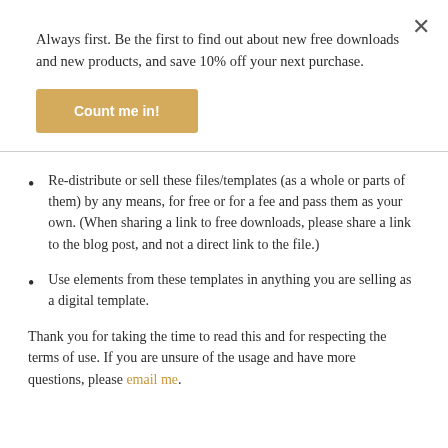Always first. Be the first to find out about new free downloads and new products, and save 10% off your next purchase.
Count me in!
Re-distribute or sell these files/templates (as a whole or parts of them) by any means, for free or for a fee and pass them as your own. (When sharing a link to free downloads, please share a link to the blog post, and not a direct link to the file.)
Use elements from these templates in anything you are selling as a digital template.
Thank you for taking the time to read this and for respecting the terms of use. If you are unsure of the usage and have more questions, please email me.